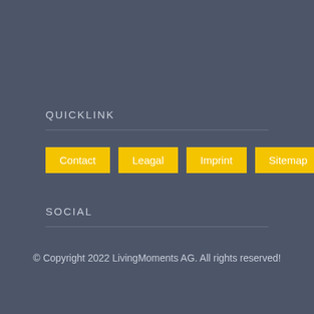QUICKLINK
Contact
Leagal
Imprint
Sitemap
SOCIAL
© Copyright 2022 LivingMoments AG. All rights reserved!